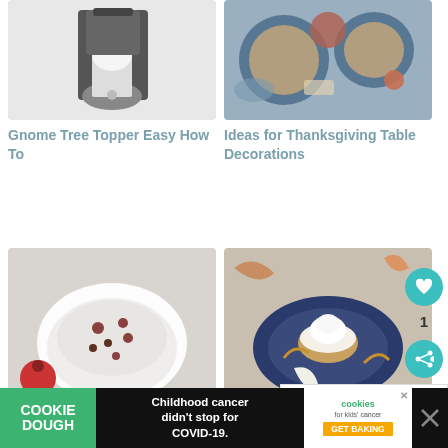[Figure (photo): Gnome tree topper figure - white gnome with grey hat on white background]
[Figure (photo): Thanksgiving table decorations - overhead view of blue plates and fall decor]
Gnome Tree Topper Easy How To
Ideas for Thanksgiving Table Decorations
[Figure (photo): Winter fruit salad in white bowl with dark toppings and pomegranate]
[Figure (photo): Cream of coconut whipped cream on decorative blue plate with fall leaf]
Recipe for Winter Fruit Salad – A Dixie Salad Tradition
Cream of Cocon Whipped Cream Recipe – A Non Dairy
[Figure (photo): Healthy Fruit Christmas thumbnail - small green dish]
WHAT'S NEXT → Healthy Fruit Christmas...
[Figure (infographic): Cookie Dough ad banner - Childhood cancer didn't stop for COVID-19. Cookies for kids cancer GET BAKING]